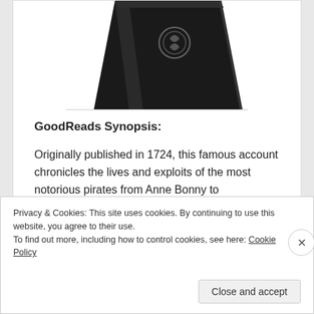[Figure (photo): Partial top view of a black book/wallet product with a circular logo emblem, cropped at the top of the card]
GoodReads Synopsis:
Originally published in 1724, this famous account chronicles the lives and exploits of the most notorious pirates from Anne Bonny to Blackbeard.
Privacy & Cookies: This site uses cookies. By continuing to use this website, you agree to their use.
To find out more, including how to control cookies, see here: Cookie Policy